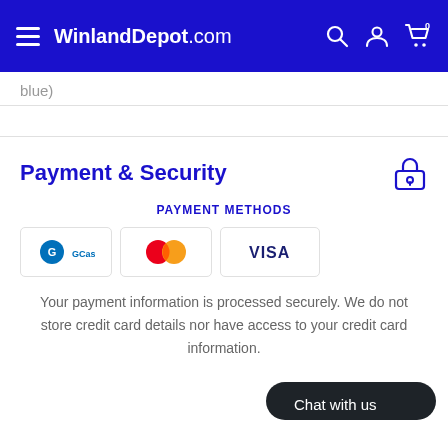WinlandDepot.com
blue)
Payment & Security
PAYMENT METHODS
[Figure (logo): GCash, Mastercard, and Visa payment method badges]
Your payment information is processed securely. We do not store credit card details nor have access to your credit card information.